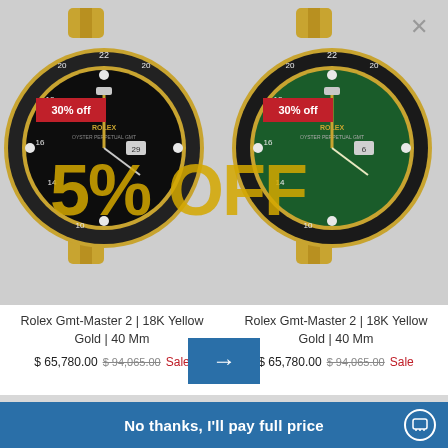[Figure (photo): Two Rolex GMT-Master 2 18K Yellow Gold 40mm watches side by side on gray background. Left watch has black dial, right watch has green dial. Both have gold cases and bracelets. Red badges showing '30% off' on top left of each watch. Large gold semi-transparent '5% OFF' overlay text across both watches.]
Rolex Gmt-Master 2 | 18K Yellow Gold | 40 Mm
$ 65,780.00  $ 94,065.00  Sale
Rolex Gmt-Master 2 | 18K Yellow Gold | 40 Mm
$ 65,780.00  $ 94,065.00  Sale
No thanks, I'll pay full price